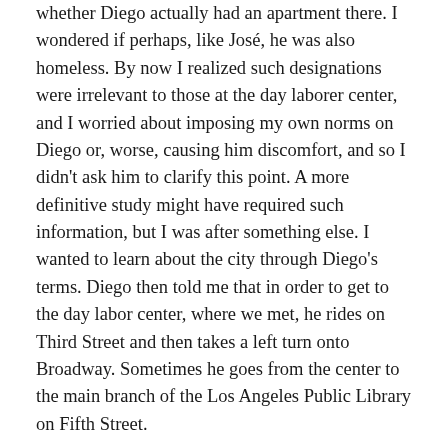whether Diego actually had an apartment there. I wondered if perhaps, like José, he was also homeless. By now I realized such designations were irrelevant to those at the day laborer center, and I worried about imposing my own norms on Diego or, worse, causing him discomfort, and so I didn't ask him to clarify this point. A more definitive study might have required such information, but I was after something else. I wanted to learn about the city through Diego's terms. Diego then told me that in order to get to the day labor center, where we met, he rides on Third Street and then takes a left turn onto Broadway. Sometimes he goes from the center to the main branch of the Los Angeles Public Library on Fifth Street.
Like José, Diego also collects recyclable material across the city, though he has his own route. He starts near his home and bikes eastward on Third Street. Along his route, Diego passes by the jewelry and wholesale stores downtown, a Buddhist temple in Little Tokyo, as well as the art galleries